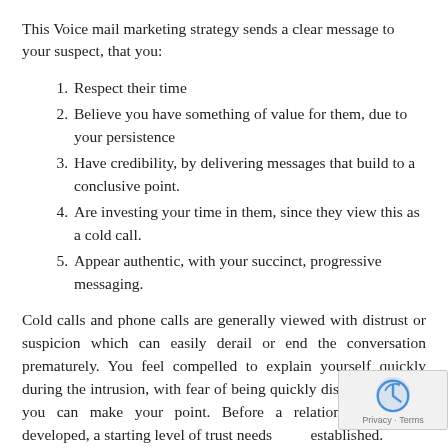This Voice mail marketing strategy sends a clear message to your suspect, that you:
Respect their time
Believe you have something of value for them, due to your persistence
Have credibility, by delivering messages that build to a conclusive point.
Are investing your time in them, since they view this as a cold call.
Appear authentic, with your succinct, progressive messaging.
Cold calls and phone calls are generally viewed with distrust or suspicion which can easily derail or end the conversation prematurely. You feel compelled to explain yourself quickly during the intrusion, with fear of being quickly dismissed before you can make your point. Before a relationship can be developed, a starting level of trust needs to be established.